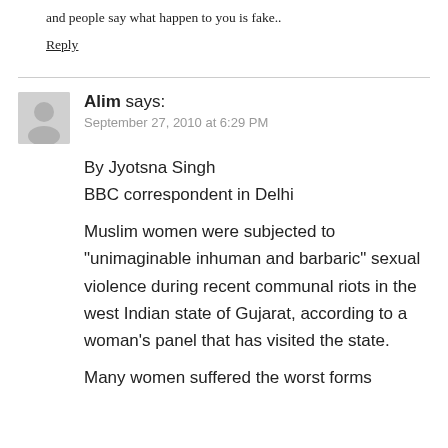and people say what happen to you is fake..
Reply
Alim says:
September 27, 2010 at 6:29 PM
By Jyotsna Singh
BBC correspondent in Delhi
Muslim women were subjected to “unimaginable inhuman and barbaric” sexual violence during recent communal riots in the west Indian state of Gujarat, according to a woman’s panel that has visited the state.
Many women suffered the worst forms